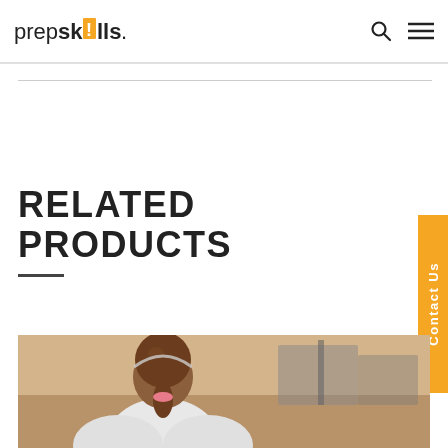prepskills.
RELATED PRODUCTS
Contact Us
[Figure (photo): A child with brown hair in a ponytail, viewed from behind, sitting at a desk in a classroom or kitchen setting]